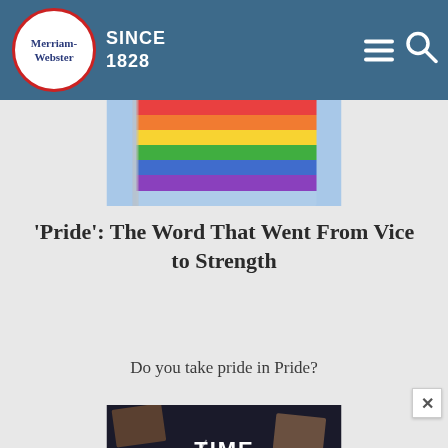Merriam-Webster SINCE 1828
[Figure (photo): Rainbow pride flag waving against a blue sky background]
'Pride': The Word That Went From Vice to Strength
Do you take pride in Pride?
[Figure (screenshot): Time Traveler feature from Merriam-Webster website: dark background with photos of various items, text reads 'TIME TRAVELER - When was a word first used in print? You may be surprised! Enter a date below to see the words first recorded on that year. To learn more about First Known Use dates, click here.' with a 'Select a year' dropdown and social media icons.]